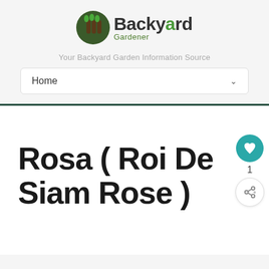[Figure (logo): Backyard Gardener logo with green circular icon and text]
Your Backyard Garden Information Source
Home
Rosa ( Roi De Siam Rose )